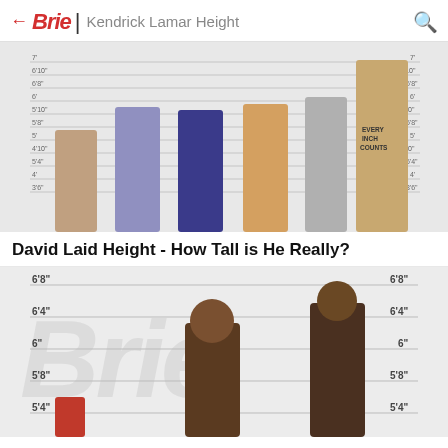← Brie | Kendrick Lamar Height
[Figure (photo): Height comparison chart showing six muscular men of varying heights lined up against a measurement scale background. The tallest man on the right is flexing and wearing a tank top that reads 'Every Inch Counts'. The shortest on the left is a bodybuilder in a competition pose.]
David Laid Height - How Tall is He Really?
[Figure (photo): Height comparison chart with a large 'Brie' watermark in the background. Shows two people (21 Savage and Wiz Khalifa) with a measurement scale on both sides ranging from 5'4" to 6'8". A partial red-colored figure is visible at the bottom left.]